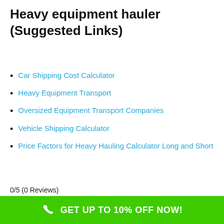Heavy equipment hauler (Suggested Links)
Car Shipping Cost Calculator
Heavy Equipment Transport
Oversized Equipment Transport Companies
Vehicle Shipping Calculator
Price Factors for Heavy Hauling Calculator Long and Short
0/5 (0 Reviews)
GET UP TO 10% OFF NOW!